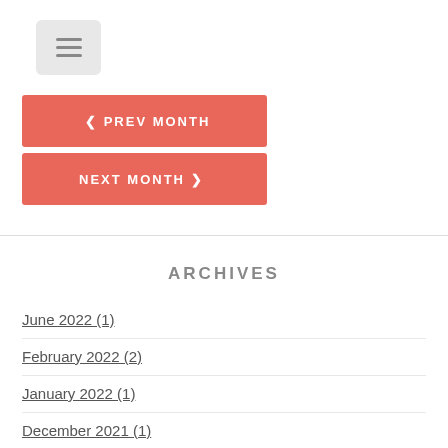[Figure (other): Hamburger menu button icon with three horizontal lines on a light gray rounded square background]
< PREV MONTH
NEXT MONTH >
ARCHIVES
June 2022 (1)
February 2022 (2)
January 2022 (1)
December 2021 (1)